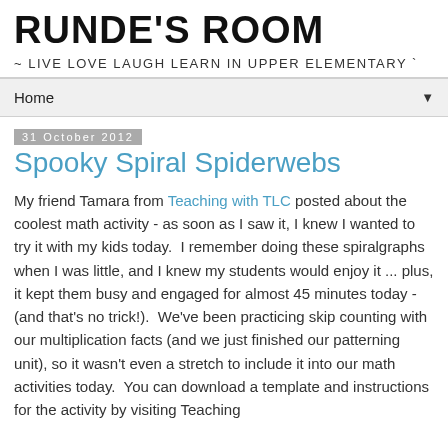RUNDE'S ROOM
~ LIVE LOVE LAUGH LEARN IN UPPER ELEMENTARY `
Home ▼
31 October 2012
Spooky Spiral Spiderwebs
My friend Tamara from Teaching with TLC posted about the coolest math activity - as soon as I saw it, I knew I wanted to try it with my kids today.  I remember doing these spiralgraphs when I was little, and I knew my students would enjoy it ... plus, it kept them busy and engaged for almost 45 minutes today - (and that's no trick!).  We've been practicing skip counting with our multiplication facts (and we just finished our patterning unit), so it wasn't even a stretch to include it into our math activities today.  You can download a template and instructions for the activity by visiting Teaching